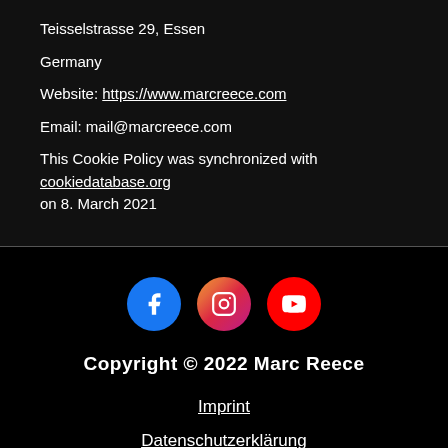Teisselstrasse 29, Essen
Germany
Website: https://www.marcreece.com
Email: mail@marcreece.com
This Cookie Policy was synchronized with cookiedatabase.org on 8. March 2021
[Figure (infographic): Three social media icon circles: Facebook (blue), Instagram (pink-red gradient), YouTube (red) with white icons]
Copyright © 2022 Marc Reece
Imprint
Datenschutzerklärung